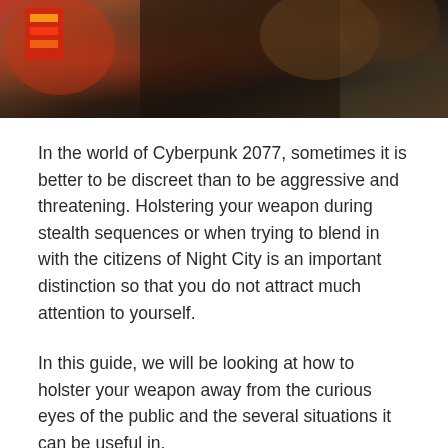[Figure (photo): Dark cinematic screenshot from Cyberpunk 2077 showing a character's tattooed arms and hands in a neon-lit environment]
In the world of Cyberpunk 2077, sometimes it is better to be discreet than to be aggressive and threatening. Holstering your weapon during stealth sequences or when trying to blend in with the citizens of Night City is an important distinction so that you do not attract much attention to yourself.
In this guide, we will be looking at how to holster your weapon away from the curious eyes of the public and the several situations it can be useful in.
[Figure (other): Loading ad placeholder with gray background]